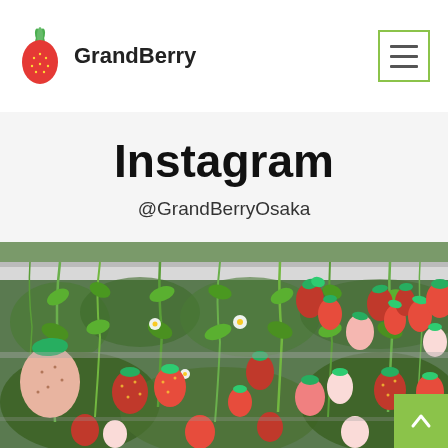GrandBerry
Instagram
@GrandBerryOsaka
[Figure (photo): Close-up photograph of strawberries hanging from elevated hydroponic growing racks in a greenhouse. Red, pink, and white strawberries at various stages of ripeness hang from green vines. White flowers are visible among the fruit.]